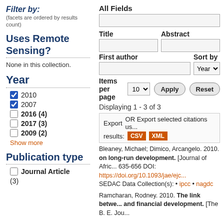Filter by:
(facets are ordered by results count)
Uses Remote Sensing?
None in this collection.
Year
2010 (checked)
2007 (checked)
2016 (4)
2017 (3)
2009 (2)
Show more
Publication type
Journal Article (3)
All Fields
Title
Abstract
First author
Sort by
Items per page
Displaying 1 - 3 of 3
Export   OR Export selected citations us... results: CSV XML
Bleaney, Michael; Dimico, Arcangelo. 2010. on long-run development. [Journal of Afric... 635-656 DOI: https://doi.org/10.1093/jae/ejc... SEDAC Data Collection(s): • ipcc • nagdc
Ramcharan, Rodney. 2010. The link betwe... and financial development. [The B. E. Jou...